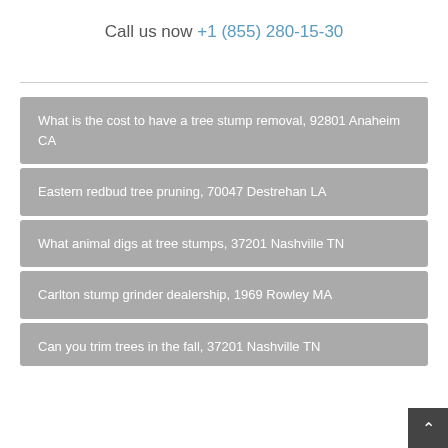Call us now +1 (855) 280-15-30
What is the cost to have a tree stump removal, 92801 Anaheim CA
Eastern redbud tree pruning, 70047 Destrehan LA
What animal digs at tree stumps, 37201 Nashville TN
Carlton stump grinder dealership, 1969 Rowley MA
Can you trim trees in the fall, 37201 Nashville TN